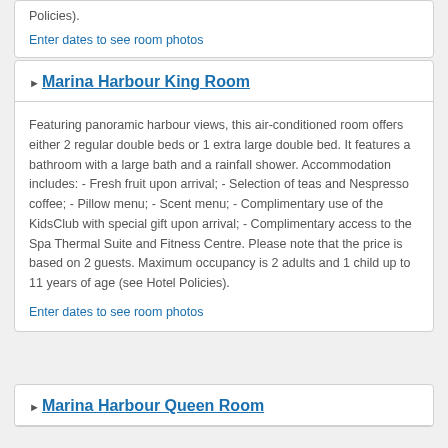Policies).
Enter dates to see room photos
Marina Harbour King Room
Featuring panoramic harbour views, this air-conditioned room offers either 2 regular double beds or 1 extra large double bed. It features a bathroom with a large bath and a rainfall shower. Accommodation includes: - Fresh fruit upon arrival; - Selection of teas and Nespresso coffee; - Pillow menu; - Scent menu; - Complimentary use of the KidsClub with special gift upon arrival; - Complimentary access to the Spa Thermal Suite and Fitness Centre. Please note that the price is based on 2 guests. Maximum occupancy is 2 adults and 1 child up to 11 years of age (see Hotel Policies).
Enter dates to see room photos
Marina Harbour Queen Room